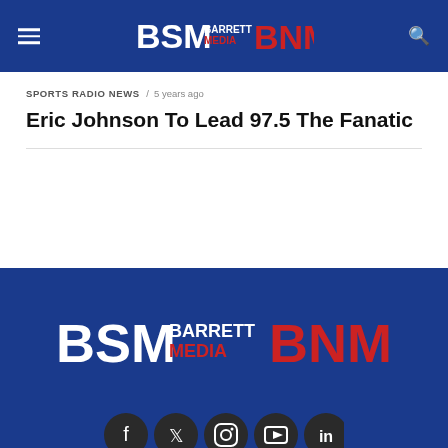BSM Barrett Media BNM
SPORTS RADIO NEWS / 5 years ago
Eric Johnson To Lead 97.5 The Fanatic
[Figure (logo): Barrett Sports Media / Barrett News Media logo with BSM text and BNM text in red]
[Figure (infographic): Social media icons: Facebook, Twitter, Instagram, YouTube, LinkedIn]
Copyright © 2021 Barrett Media.